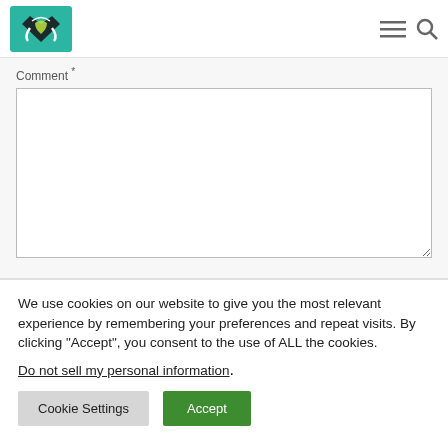Website navigation bar with logo and menu/search icons
Comment *
We use cookies on our website to give you the most relevant experience by remembering your preferences and repeat visits. By clicking “Accept”, you consent to the use of ALL the cookies.
Do not sell my personal information.
Cookie Settings
Accept